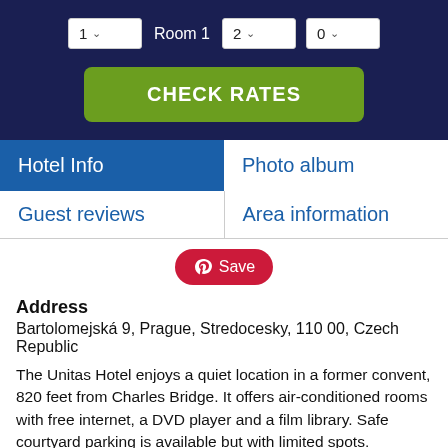[Figure (screenshot): Hotel booking widget showing room selector with dropdown for number of rooms (1), Room 1 label, adults dropdown (2), children dropdown (0), and a green CHECK RATES button, all on a dark navy background.]
Hotel Info
Photo album
Guest reviews
Area information
[Figure (other): Red Pinterest-style Save button with Pinterest icon]
Address
Bartolomejská 9, Prague, Stredocesky, 110 00, Czech Republic
The Unitas Hotel enjoys a quiet location in a former convent, 820 feet from Charles Bridge. It offers air-conditioned rooms with free internet, a DVD player and a film library. Safe courtyard parking is available but with limited spots. Reservation is required.